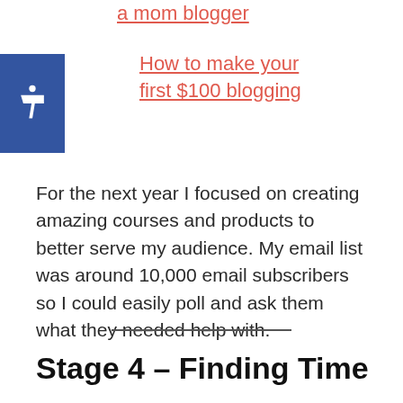a mom blogger
2. How to make your first $100 blogging
For the next year I focused on creating amazing courses and products to better serve my audience. My email list was around 10,000 email subscribers so I could easily poll and ask them what they needed help with.
Stage 4 – Finding Time